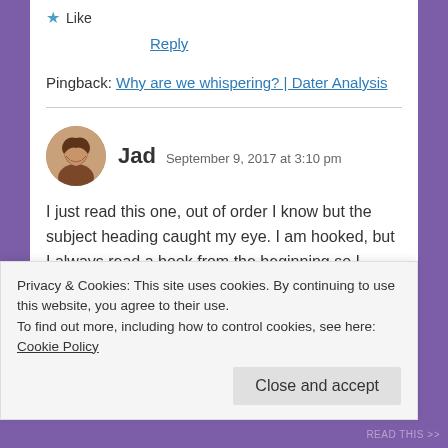★ Like
Reply
Pingback: Why are we whispering? | Dater Analysis
Jad  September 9, 2017 at 3:10 pm
I just read this one, out of order I know but the subject heading caught my eye. I am hooked, but I always read a book from the beginning so I guess I need to go back to the start of your journey 🙂
Privacy & Cookies: This site uses cookies. By continuing to use this website, you agree to their use.
To find out more, including how to control cookies, see here: Cookie Policy
Close and accept